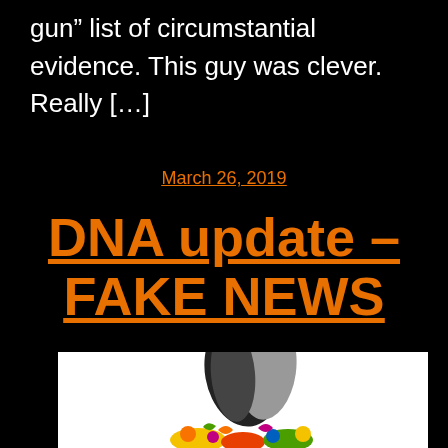gun” list of circumstantial evidence. This guy was clever. Really […]
March 26, 2019
DNA update – FAKE NEWS
[Figure (illustration): Illustrated figure of a stylized character or creature with dark swirling shapes, colorful decorative elements at the bottom, on a white background]